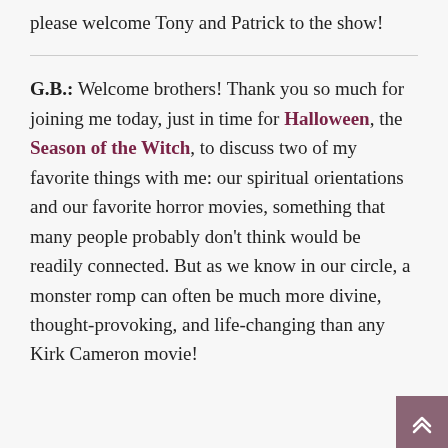please welcome Tony and Patrick to the show!
G.B.: Welcome brothers! Thank you so much for joining me today, just in time for Halloween, the Season of the Witch, to discuss two of my favorite things with me: our spiritual orientations and our favorite horror movies, something that many people probably don't think would be readily connected. But as we know in our circle, a monster romp can often be much more divine, thought-provoking, and life-changing than any Kirk Cameron movie!